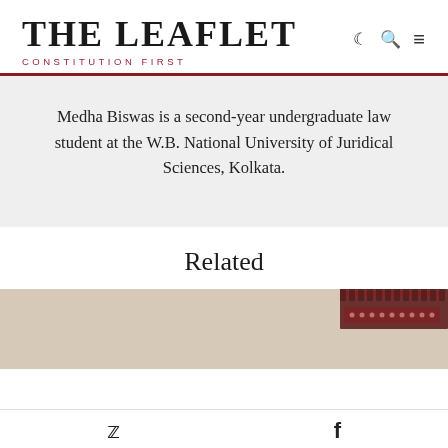THE LEAFLET — CONSTITUTION FIRST
Medha Biswas is a second-year undergraduate law student at the W.B. National University of Juridical Sciences, Kolkata.
Related
[Figure (photo): Partial view of a red-domed building (likely a court or parliament building), showing curved architectural details against a light background.]
Twitter and Facebook social icons